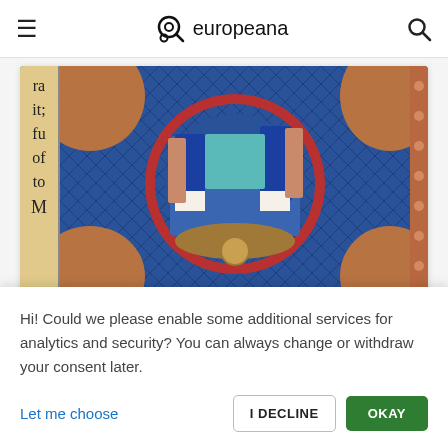europeana
[Figure (illustration): Medieval illuminated manuscript detail from BL Harley 1527, f. 36v showing figures in blue robes within a circular medallion on a blue background, with decorative orange corners and Latin text on the left margin.]
Bible scenes and moralisations from BL Harley 1527, f. 36v
[Figure (photo): Partial view of a second manuscript or image card, partially visible at the bottom of the page.]
Hi! Could we please enable some additional services for analytics and security? You can always change or withdraw your consent later.
Let me choose
I DECLINE
OKAY